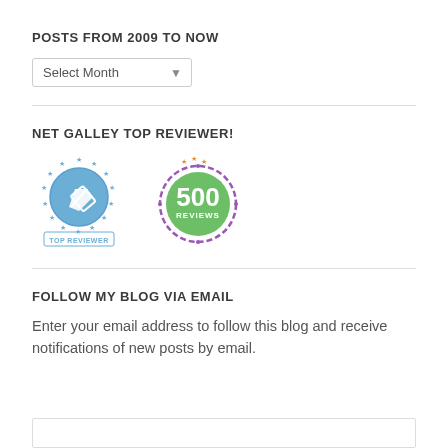POSTS FROM 2009 TO NOW
[Figure (other): Dropdown select element labeled 'Select Month' with a dropdown arrow]
NET GALLEY TOP REVIEWER!
[Figure (other): Two NetGalley badges: a blue 'TOP REVIEWER' badge with stars and a pen icon, and a green '500 REVIEWS' badge with a laurel wreath and orange stars]
FOLLOW MY BLOG VIA EMAIL
Enter your email address to follow this blog and receive notifications of new posts by email.